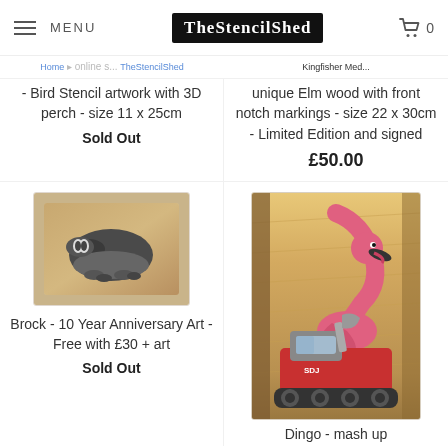MENU | TheStencilShed | 0
- Bird Stencil artwork with 3D perch - size 11 x 25cm
Sold Out
unique Elm wood with front notch markings - size 22 x 30cm - Limited Edition and signed
£50.00
[Figure (photo): Photo of a badger stencil artwork on a wooden board]
Brock - 10 Year Anniversary Art - Free with £30 + art
Sold Out
[Figure (photo): Photo of a flamingo and excavator mash-up stencil artwork on elm wood]
Dingo - mash up